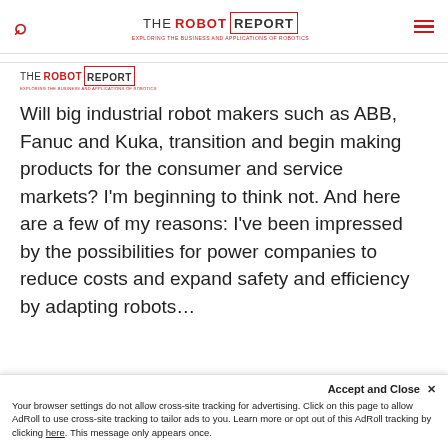THE ROBOT REPORT — EXPLORING THE BUSINESS AND APPLICATIONS OF ROBOTICS
[Figure (logo): The Robot Report logo with tagline]
Will big industrial robot makers such as ABB, Fanuc and Kuka, transition and begin making products for the consumer and service markets? I'm beginning to think not. And here are a few of my reasons: I've been impressed by the possibilities for power companies to reduce costs and expand safety and efficiency by adapting robots…
Accept and Close ✕
Your browser settings do not allow cross-site tracking for advertising. Click on this page to allow AdRoll to use cross-site tracking to tailor ads to you. Learn more or opt out of this AdRoll tracking by clicking here. This message only appears once.